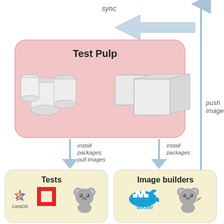[Figure (flowchart): Architecture diagram showing Test Pulp system with sync arrow from right, push images arrow on right side going up, install packages/pull images arrow going down to Tests box (CentOS, OpenStack, koala logos), and install packages arrow going down to Image builders box (Docker, koala logos). Test Pulp box contains cylinder database icons and cube storage icons.]